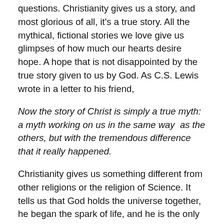questions. Christianity gives us a story, and most glorious of all, it's a true story. All the mythical, fictional stories we love give us glimpses of how much our hearts desire hope. A hope that is not disappointed by the true story given to us by God. As C.S. Lewis wrote in a letter to his friend,
Now the story of Christ is simply a true myth: a myth working on us in the same way  as the others, but with the tremendous difference that it really happened.
Christianity gives us something different from other religions or the religion of Science. It tells us that God holds the universe together, he began the spark of life, and he is the only way to navigate the deepest, and darkest trenches of our souls. He gives us the answers to humanity's greatest problems by giving himself. He